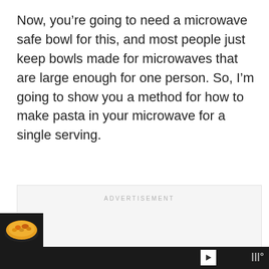Now, you're going to need a microwave safe bowl for this, and most people just keep bowls made for microwaves that are large enough for one person. So, I'm going to show you a method for how to make pasta in your microwave for a single serving.
[Figure (other): Advertisement placeholder box with 'ADVERTISEMENT' label, like button (heart icon, blue circle), count of 11, share button, three pagination dots, food thumbnail image at bottom left, dark bottom bar with play icon and brand logo]